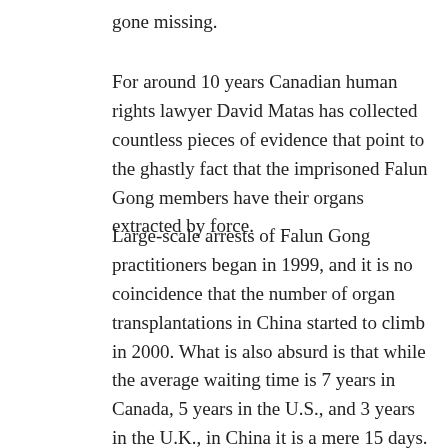gone missing.
For around 10 years Canadian human rights lawyer David Matas has collected countless pieces of evidence that point to the ghastly fact that the imprisoned Falun Gong members have their organs extracted by force.
Large-scale arrests of Falun Gong practitioners began in 1999, and it is no coincidence that the number of organ transplantations in China started to climb in 2000. What is also absurd is that while the average waiting time is 7 years in Canada, 5 years in the U.S., and 3 years in the U.K., in China it is a mere 15 days. This can only be explained if China has a huge “organ bank” that they can draw from at any time.
The Beijing government alleges that they get 90% of their organs from executed criminals. The number of death sentences in China, however, is 2000 per year. The